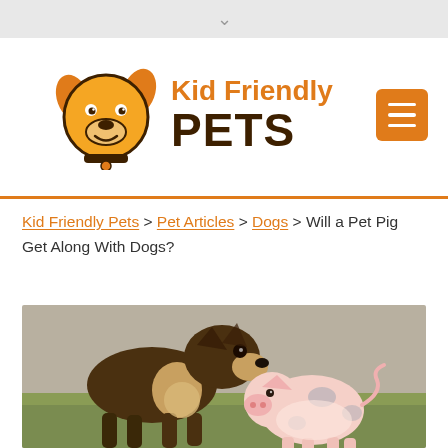[Figure (logo): Kid Friendly Pets logo — cartoon dog face in orange and brown next to text 'Kid Friendly PETS']
Kid Friendly Pets > Pet Articles > Dogs > Will a Pet Pig Get Along With Dogs?
[Figure (photo): A German Shepherd dog sniffing or facing a small spotted pig outdoors on grass/dirt ground]